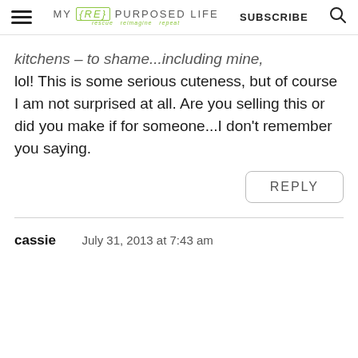MY {re} PURPOSED LIFE rescue reimagine repeat | SUBSCRIBE
kitchens – to shame...including mine, lol! This is some serious cuteness, but of course I am not surprised at all. Are you selling this or did you make if for someone...I don't remember you saying.
REPLY
cassie   July 31, 2013 at 7:43 am